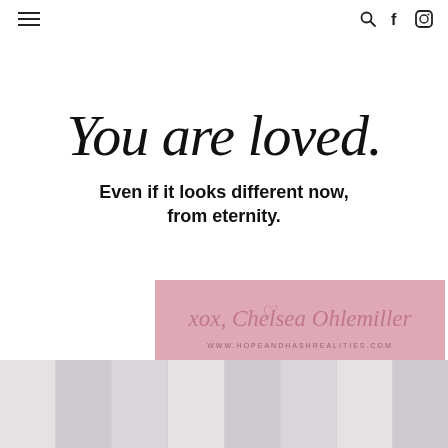Navigation header with hamburger menu, search, facebook, and instagram icons
[Figure (illustration): Handwritten script text 'You are loved.' in large cursive font with bold sans-serif text below reading 'Even if it looks different now, from eternity.']
[Figure (illustration): Pink banner with cursive signature 'xox, Chelsea Ohlemiller' and URL 'WWW.HOPEANDHASHREALITIES.COM' below]
[Figure (photo): Bottom strip showing a collage/grid of blog post images in muted grey/pink tones]